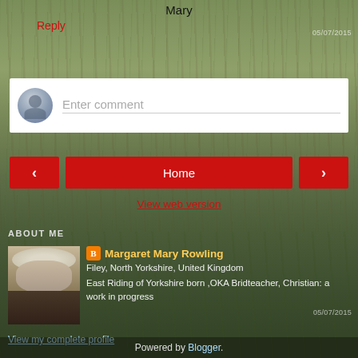Mary
Reply
[Figure (screenshot): Comment input box with avatar icon and 'Enter comment' placeholder text]
05/07/2015
[Figure (screenshot): Navigation bar with left arrow button, Home button, and right arrow button]
View web version
ABOUT ME
[Figure (photo): Profile photo of Margaret Mary Rowling]
Margaret Mary Rowling
Filey, North Yorkshire, United Kingdom
East Riding of Yorkshire born ,OKA Bridteacher, Christian: a work in progress
05/07/2015
View my complete profile
Powered by Blogger.